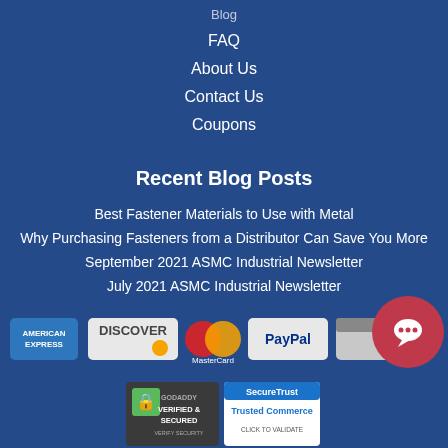Blog
FAQ
About Us
Contact Us
Coupons
Recent Blog Posts
Best Fastener Materials to Use with Metal
Why Purchasing Fasteners from a Distributor Can Save You More
September 2021 ASMC Industrial Newsletter
July 2021 ASMC Industrial Newsletter
[Figure (logo): Payment method logos: American Express, Discover, MasterCard, PayPal, and another card logo, plus a chat bubble icon]
[Figure (logo): GoDaddy Verified & Secured badge and SecureTrust Trusted Commerce badge]